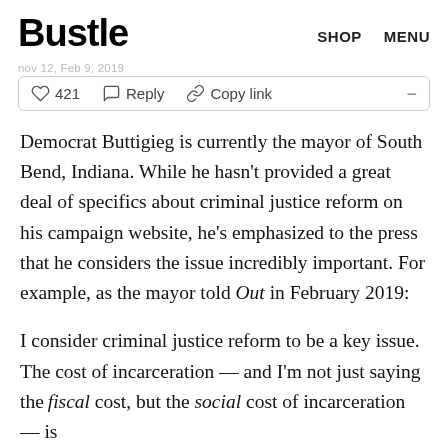Bustle   SHOP   MENU
421   Reply   Copy link
Democrat Buttigieg is currently the mayor of South Bend, Indiana. While he hasn't provided a great deal of specifics about criminal justice reform on his campaign website, he's emphasized to the press that he considers the issue incredibly important. For example, as the mayor told Out in February 2019:
I consider criminal justice reform to be a key issue. The cost of incarceration — and I'm not just saying the fiscal cost, but the social cost of incarceration — is